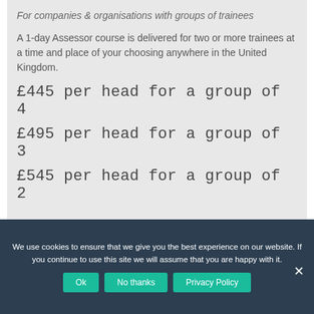For companies & organisations with groups of trainees
A 1-day Assessor course is delivered for two or more trainees at a time and place of your choosing anywhere in the United Kingdom.
£445 per head for a group of 4
£495 per head for a group of 3
£545 per head for a group of 2
We use cookies to ensure that we give you the best experience on our website. If you continue to use this site we will assume that you are happy with it.
Ok | No thanks | Privacy Policy